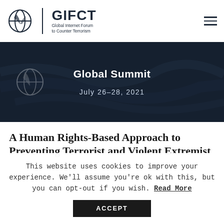GIFCT — Global Internet Forum to Counter Terrorism
[Figure (screenshot): GIFCT Global Summit banner image with dark blue background, globe icon, title 'Global Summit', and date 'July 26-28, 2021']
A Human Rights-Based Approach to Preventing Terrorist and Violent Extremist
This website uses cookies to improve your experience. We'll assume you're ok with this, but you can opt-out if you wish. Read More ACCEPT